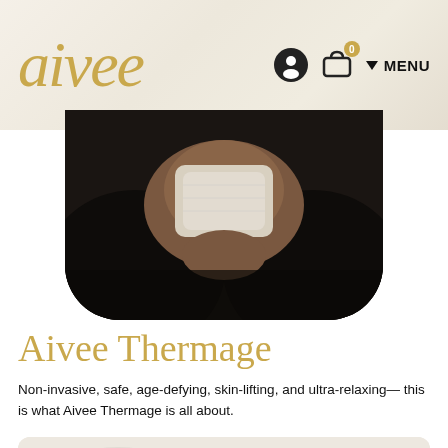aivee
[Figure (photo): Close-up photo showing a hand holding or pressing a white textured cloth/pad against skin, dark clothing in background, rounded bottom corners on image]
Aivee Thermage
Non-invasive, safe, age-defying, skin-lifting, and ultra-relaxing— this is what Aivee Thermage is all about.
[Figure (photo): Partially visible card or image section at the bottom of the page, light beige/gray background]